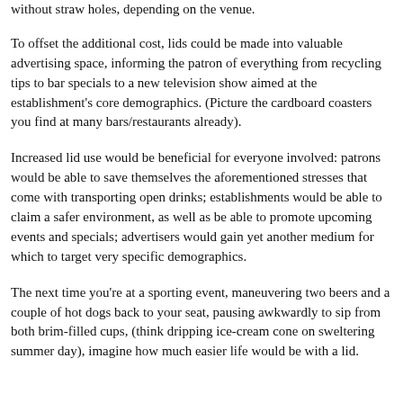without straw holes, depending on the venue.
To offset the additional cost, lids could be made into valuable advertising space, informing the patron of everything from recycling tips to bar specials to a new television show aimed at the establishment's core demographics. (Picture the cardboard coasters you find at many bars/restaurants already).
Increased lid use would be beneficial for everyone involved: patrons would be able to save themselves the aforementioned stresses that come with transporting open drinks; establishments would be able to claim a safer environment, as well as be able to promote upcoming events and specials; advertisers would gain yet another medium for which to target very specific demographics.
The next time you're at a sporting event, maneuvering two beers and a couple of hot dogs back to your seat, pausing awkwardly to sip from both brim-filled cups, (think dripping ice-cream cone on sweltering summer day), imagine how much easier life would be with a lid.